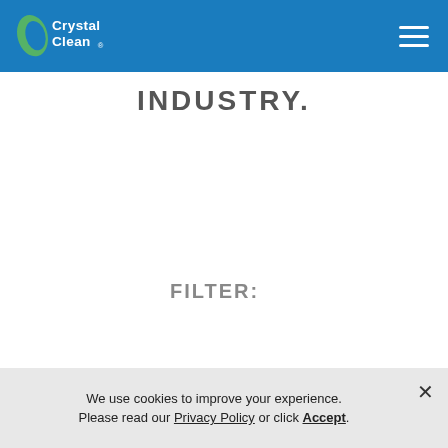Crystal Clean [logo] — navigation header with hamburger menu
INDUSTRY.
FILTER:
ALL
UNCATEGORIZED
COMPANY NEWS
INVESTOR RELATIONS
NEWS
Showing results for: Antifreeze
We use cookies to improve your experience. Please read our Privacy Policy or click Accept.